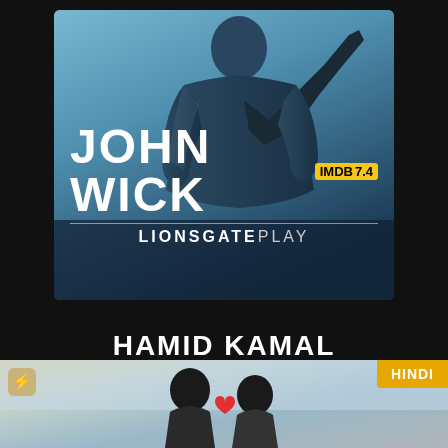[Figure (photo): John Wick movie poster showing a man in a suit with a tie, blue-grey tones. Title 'JOHN WICK' in large white bold text with IMDb 7.4 badge and 'LIONSGATE PLAY' branding below.]
HAMID KAMAL
1 WEB SERIES
[Figure (photo): Thumbnail for a Hindi web series showing two people with a heart graphic, with a 'HINDI' badge in the top right corner.]